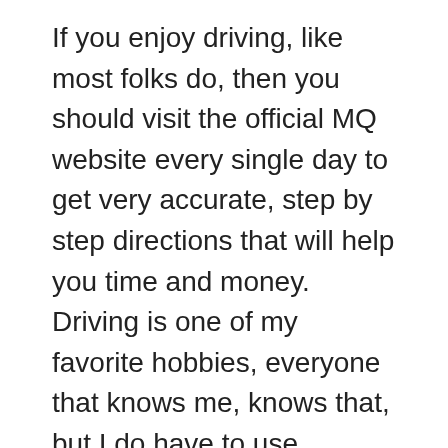If you enjoy driving, like most folks do, then you should visit the official MQ website every single day to get very accurate, step by step directions that will help you time and money. Driving is one of my favorite hobbies, everyone that knows me, knows that, but I do have to use internet mapping services when I have to deal with things like traffic, closed roads, and stuff like that.
MapQuest driving directions are incredible, they are accurate, quick, easy to follow, easy to get, and free. To get directions simply go to mapquest.com, once you are at the official MQ site click on the blue get directions link, enter